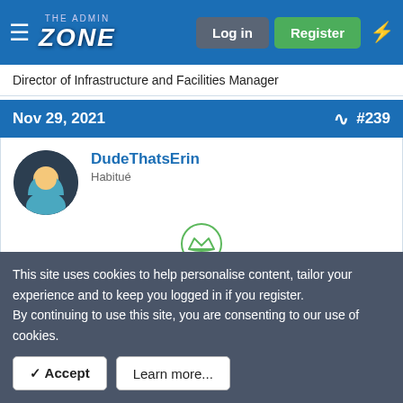the ADMIN ZONE — Log in | Register
Director of Infrastructure and Facilities Manager
Nov 29, 2021  #239
DudeThatsErin
Habitué
Customer service associate
Nov 30, 2021  #240
This site uses cookies to help personalise content, tailor your experience and to keep you logged in if you register.
By continuing to use this site, you are consenting to our use of cookies.